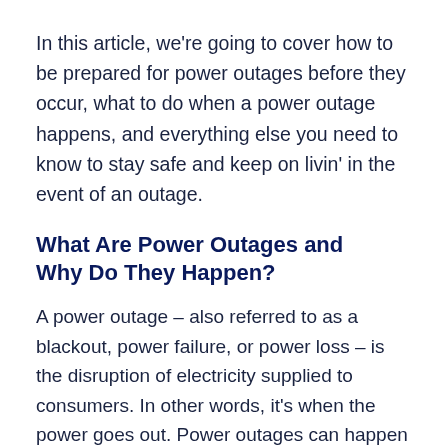In this article, we're going to cover how to be prepared for power outages before they occur, what to do when a power outage happens, and everything else you need to know to stay safe and keep on livin' in the event of an outage.
What Are Power Outages and Why Do They Happen?
A power outage – also referred to as a blackout, power failure, or power loss – is the disruption of electricity supplied to consumers. In other words, it's when the power goes out. Power outages can happen